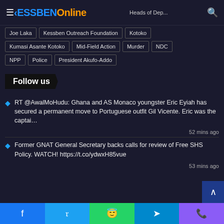KESSBEN Online
Joe Laka
Kessben Outreach Foundation
Kotoko
Kumasi Asante Kotoko
Mid-Field Action
Murder
NDC
NPP
Police
President Akufo-Addo
Follow us
RT @AwalMoHudu: Ghana and AS Monaco youngster Eric Eyiah has secured a permanent move to Portuguese outfit Gil Vicente. Eric was the captai…
52 mins ago
Former GNAT General Secretary backs calls for review of Free SHS Policy. WATCH! https://t.co/ydwxH85vue
53 mins ago